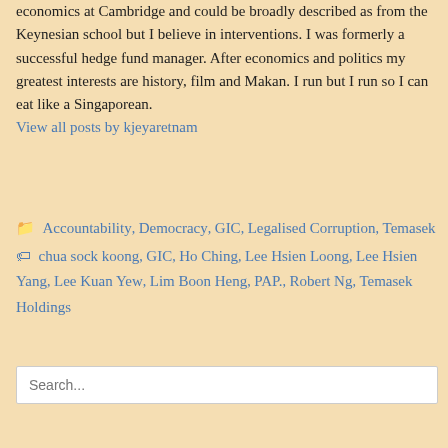economics at Cambridge and could be broadly described as from the Keynesian school but I believe in interventions. I was formerly a successful hedge fund manager. After economics and politics my greatest interests are history, film and Makan. I run but I run so I can eat like a Singaporean. View all posts by kjeyaretnam
Accountability, Democracy, GIC, Legalised Corruption, Temasek chua sock koong, GIC, Ho Ching, Lee Hsien Loong, Lee Hsien Yang, Lee Kuan Yew, Lim Boon Heng, PAP., Robert Ng, Temasek Holdings
Search...